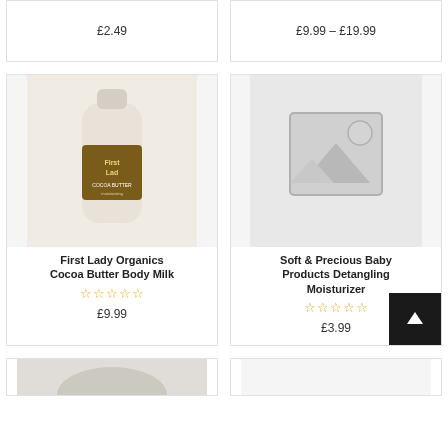£2.49
£9.99 – £19.99
[Figure (photo): First Lady Organics Cocoa Butter Body Milk bottle product photo]
First Lady Organics Cocoa Butter Body Milk
Star rating: 0 out of 5
£9.99
[Figure (illustration): Placeholder image with mountain/sun icon for Soft & Precious Baby Products Detangling Moisturizer]
Soft & Precious Baby Products Detangling Moisturizer
Star rating: 0 out of 5
£3.99
[Figure (photo): Partial bottom product card image, left column]
[Figure (photo): Partial bottom product card image, right column]